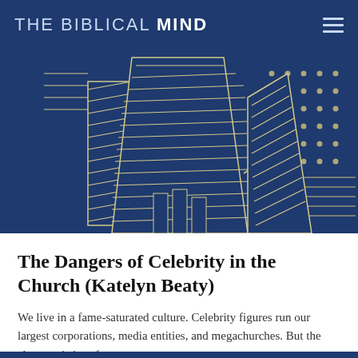THE BIBLICAL MIND
[Figure (illustration): A decorative illustration on a dark navy blue background showing outline drawings of hands with diagonal hatching/shading lines in a cream/gold color, with a dot-grid pattern in the upper right corner.]
The Dangers of Celebrity in the Church (Katelyn Beaty)
We live in a fame-saturated culture. Celebrity figures run our largest corporations, media entities, and megachurches. But the characteristics of…